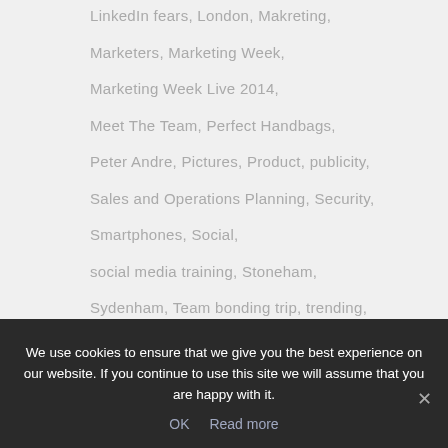LinkedIn fears, London, Makreting,
Marketers, Marketing Week,
Marketing Week Live 2014,
Meet The Team, Perfect Handbags,
Peter Andre, Pictures, Product, publicity,
Sales and Operations Planning, Security,
Smartphones, Social,
social media training, Stoneham,
Sydenham, Team bonding trip, trending,
twitter, Video Marketing,
Website Updates, Web updates
We use cookies to ensure that we give you the best experience on our website. If you continue to use this site we will assume that you are happy with it.
OK   Read more